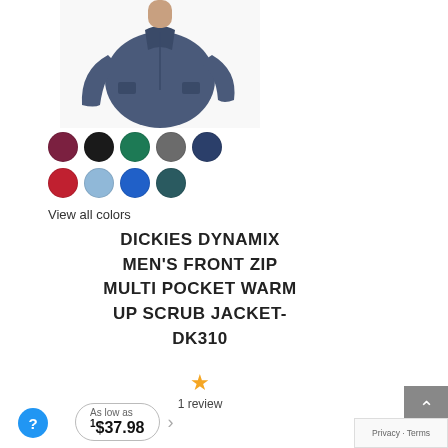[Figure (photo): Product photo of a man wearing a navy blue zip-up scrub jacket, cropped to show torso and arms]
[Figure (illustration): Color swatches: row 1 — burgundy, black, teal/green, gray, navy; row 2 — red, light blue, blue, dark teal]
View all colors
DICKIES DYNAMIX MEN'S FRONT ZIP MULTI POCKET WARM UP SCRUB JACKET- DK310
★ 1 review
As low as 1$37.98 >